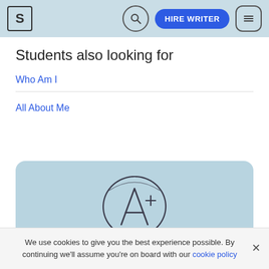S | [search] HIRE WRITER [menu]
Students also looking for
Who Am I
All About Me
[Figure (illustration): A+ grade handwritten in a hand-drawn circle, on a light blue card background]
We use cookies to give you the best experience possible. By continuing we'll assume you're on board with our cookie policy